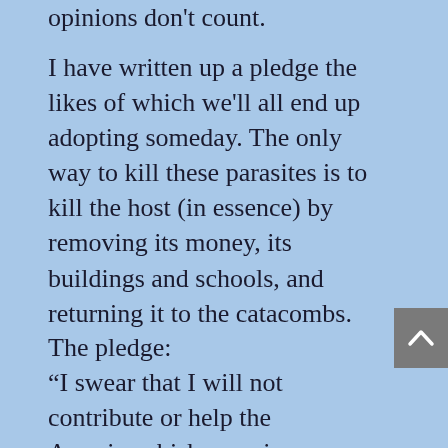opinions don't count.
I have written up a pledge the likes of which we'll all end up adopting someday. The only way to kill these parasites is to kill the host (in essence) by removing its money, its buildings and schools, and returning it to the catacombs.
The pledge:
“I swear that I will not contribute or help the American bishops raise a